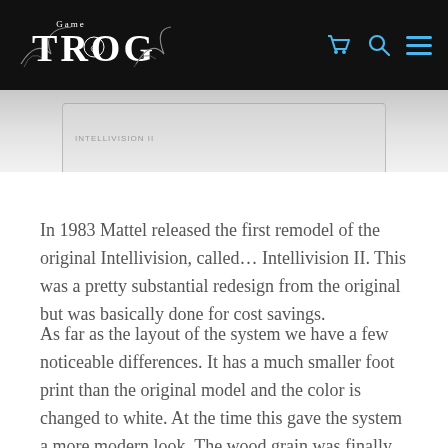Game Trog
[Figure (photo): Partial view of an Intellivision II console box or console, shown at the top of the page against a light gray background.]
In 1983 Mattel released the first remodel of the original Intellivision, called... Intellivision II. This was a pretty substantial redesign from the original but was basically done for cost savings.
As far as the layout of the system we have a few noticeable differences. It has a much smaller foot print than the original model and the color is changed to white. At the time this gave the system a more modern look. The wood grain was finally removed with the white system having a black